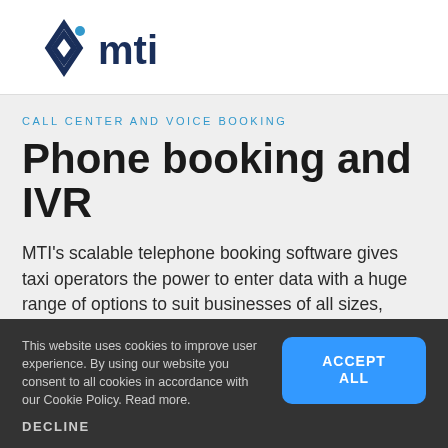[Figure (logo): MTI company logo: diamond-shaped icon in dark blue with a blue dot, followed by bold dark blue text 'mti']
CALL CENTER AND VOICE BOOKING
Phone booking and IVR
MTI's scalable telephone booking software gives taxi operators the power to enter data with a huge range of options to suit businesses of all sizes, worldwide.
This website uses cookies to improve user experience. By using our website you consent to all cookies in accordance with our Cookie Policy. Read more.
ACCEPT ALL
DECLINE